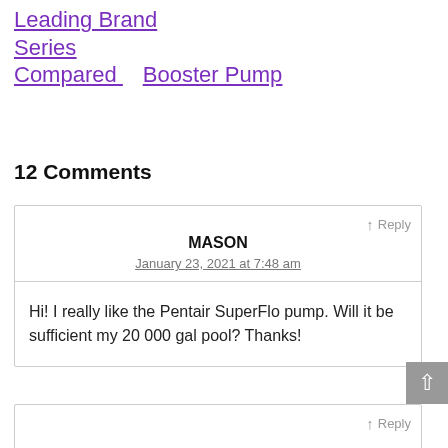Leading Brand Series Compared   Booster Pump
12 Comments
↑ Reply
MASON
January 23, 2021 at 7:48 am
Hi! I really like the Pentair SuperFlo pump. Will it be sufficient my 20 000 gal pool? Thanks!
↑ Reply